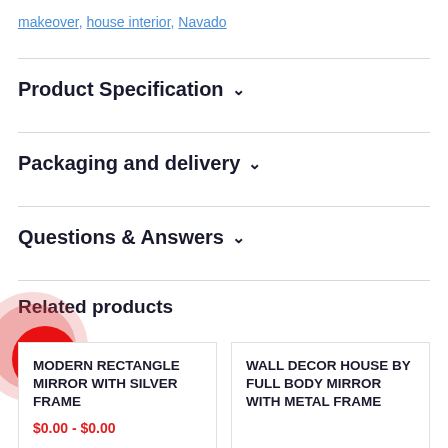makeover, house interior, Navado
Product Specification
Packaging and delivery
Questions & Answers
Related products
MODERN RECTANGLE MIRROR WITH SILVER FRAME
$0.00 - $0.00
WALL DECOR HOUSE BY FULL BODY MIRROR WITH METAL FRAME